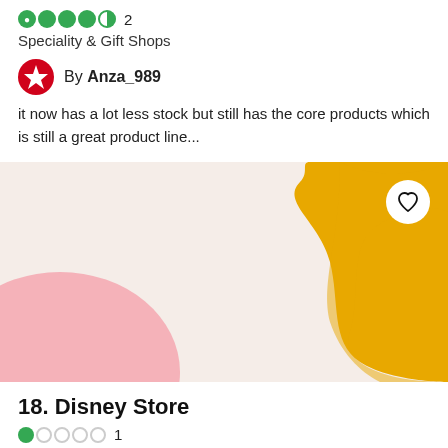Speciality & Gift Shops
By Anza_989
it now has a lot less stock but still has the core products which is still a great product line...
[Figure (illustration): Decorative card image with a light peach/beige background, a pink blob shape on the lower left, a yellow/amber wavy shape on the right side, and a white circular heart/favorite button in the upper right.]
18. Disney Store
Speciality & Gift Shops